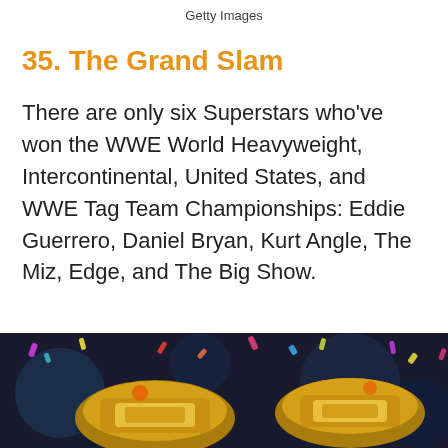Getty Images
35. The Grand Slam
There are only six Superstars who've won the WWE World Heavyweight, Intercontinental, United States, and WWE Tag Team Championships: Eddie Guerrero, Daniel Bryan, Kurt Angle, The Miz, Edge, and The Big Show.
[Figure (photo): Close-up photo of gold championship wrestling belts with colorful confetti in the background (bokeh effect), showing orange and gold belt details.]